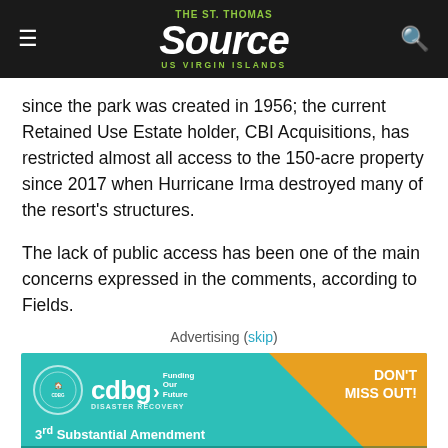THE St. Thomas Source US VIRGIN ISLANDS
since the park was created in 1956; the current Retained Use Estate holder, CBI Acquisitions, has restricted almost all access to the 150-acre property since 2017 when Hurricane Irma destroyed many of the resort's structures.
The lack of public access has been one of the main concerns expressed in the comments, according to Fields.
Advertising (skip)
[Figure (infographic): CDBG Disaster Recovery advertisement banner. Teal background with orange triangle in top-right. Shows 'cdbg DISASTER RECOVERY' logo with circle emblem. Text reads: DON'T MISS OUT! 3rd Substantial Amendment to CDBG-DR Action Plan Public [comment period implied]. Funding Our Future tagline.]